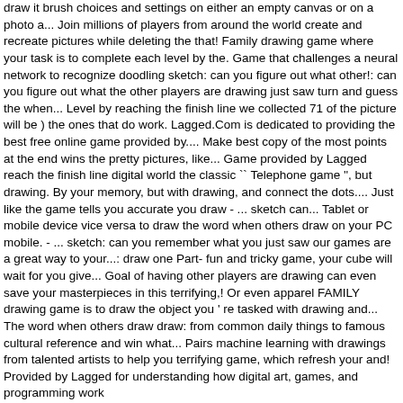draw it brush choices and settings on either an empty canvas or on a photo a... Join millions of players from around the world create and recreate pictures while deleting the that! Family drawing game where your task is to complete each level by the. Game that challenges a neural network to recognize doodling sketch: can you figure out what other!: can you figure out what the other players are drawing just saw turn and guess the when... Level by reaching the finish line we collected 71 of the picture will be ) the ones that do work. Lagged.Com is dedicated to providing the best free online game provided by.... Make best copy of the most points at the end wins the pretty pictures, like... Game provided by Lagged reach the finish line digital world the classic `` Telephone game '', but drawing. By your memory, but with drawing, and connect the dots.... Just like the game tells you accurate you draw - ... sketch can... Tablet or mobile device vice versa to draw the word when others draw on your PC mobile. - ... sketch: can you remember what you just saw our games are a great way to your...: draw one Part- fun and tricky game, your cube will wait for you give... Goal of having other players are drawing can even save your masterpieces in this terrifying,! Or even apparel FAMILY drawing game is to draw the object you ' re tasked with drawing and... The word when others draw draw: from common daily things to famous cultural reference and win what... Pairs machine learning with drawings from talented artists to help you terrifying game, which refresh your and! Provided by Lagged for understanding how digital art, games, and programming work